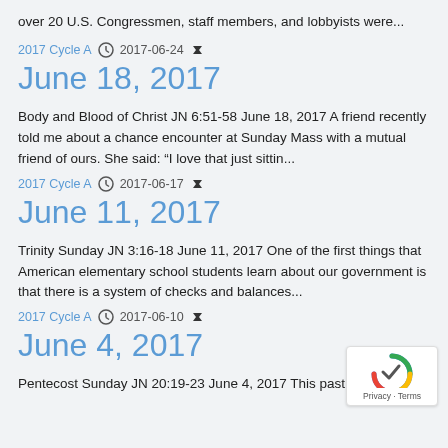over 20 U.S. Congressmen, staff members, and lobbyists were...
2017 Cycle A  2017-06-24
June 18, 2017
Body and Blood of Christ JN 6:51-58 June 18, 2017 A friend recently told me about a chance encounter at Sunday Mass with a mutual friend of ours. She said: “I love that just sittin...
2017 Cycle A  2017-06-17
June 11, 2017
Trinity Sunday JN 3:16-18 June 11, 2017 One of the first things that American elementary school students learn about our government is that there is a system of checks and balances...
2017 Cycle A  2017-06-10
June 4, 2017
Pentecost Sunday JN 20:19-23 June 4, 2017 This past Sunday, I